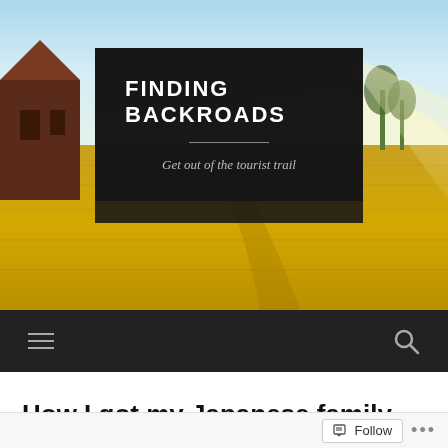[Figure (photo): Hero banner image of a rural farm field at golden hour with a barn on the left. A dark semi-transparent overlay contains the blog title and tagline.]
FINDING BACKROADS
Get out of the tourist trail
[Figure (other): Dark navigation bar with hamburger menu icon on the left and search icon on the right]
How I got my Japanese family